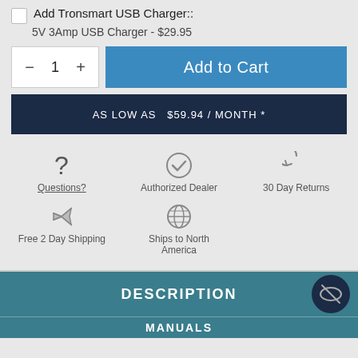Add Tronsmart USB Charger:: 5V 3Amp USB Charger - $29.95
1
Add to Cart
AS LOW AS  $59.94 / MONTH *
Questions?
Authorized Dealer
30 Day Returns
Free 2 Day Shipping
Ships to North America
DESCRIPTION
MANUALS